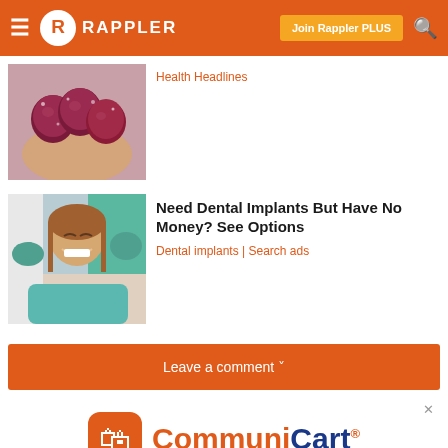Rappler – Join Rappler PLUS
[Figure (photo): Hand holding dark red gummy candies]
Health Headlines
[Figure (photo): Woman smiling in dental chair being examined by dentist with teal gloves]
Need Dental Implants But Have No Money? See Options
Dental implants | Search ads
Leave a comment ˅
[Figure (logo): CommuniCart logo with shopping bag icon]